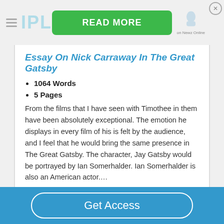[Figure (screenshot): Ad bar at top with hamburger menu, IPL logo in light blue, green READ MORE button, Newz Online icon, and close (X) button]
Essay On Nick Carraway In The Great Gatsby
1064 Words
5 Pages
From the films that I have seen with Timothee in them have been absolutely exceptional. The emotion he displays in every film of his is felt by the audience, and I feel that he would bring the same presence in The Great Gatsby. The character, Jay Gatsby would be portrayed by Ian Somerhalder. Ian Somerhalder is also an American actor....
[Figure (other): Read More rounded blue button]
[Figure (other): Get Access rounded white-border button on blue footer bar]